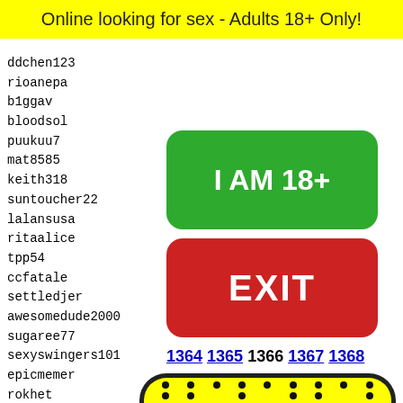Online looking for sex - Adults 18+ Only!
ddchen123
rioanepa
b1ggav
bloodsol
puukuu7
mat8585
keith318
suntoucher22
lalansusa
ritaalice
tpp54
ccfatale
settledjer
awesomedude2000
sugaree77
sexyswingers101
epicmemer
rokhet
vukcevic
baffli
firedo
jrstaf
tnt890
lalaso
pomolo
[Figure (other): Green button saying I AM 18+]
[Figure (other): Red button saying EXIT]
1364 1365 1366 1367 1368
[Figure (illustration): Yellow rounded rectangle with dot pattern and green frog face at bottom]